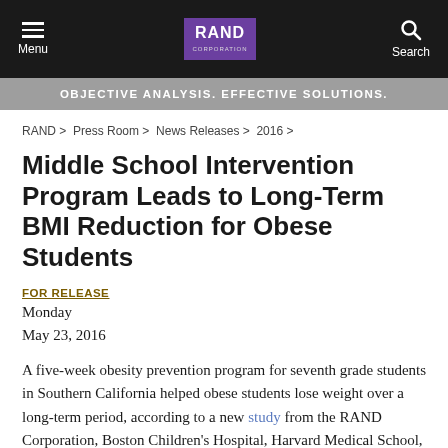Menu | RAND Corporation | Search
OBJECTIVE ANALYSIS. EFFECTIVE SOLUTIONS.
RAND > Press Room > News Releases > 2016 >
Middle School Intervention Program Leads to Long-Term BMI Reduction for Obese Students
FOR RELEASE
Monday
May 23, 2016
A five-week obesity prevention program for seventh grade students in Southern California helped obese students lose weight over a long-term period, according to a new study from the RAND Corporation, Boston Children's Hospital, Harvard Medical School, and the Los Angeles Unified School District.